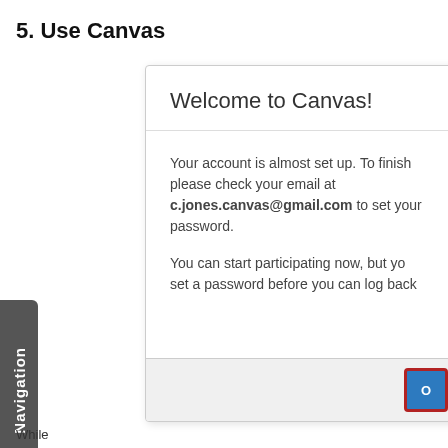5. Use Canvas
[Figure (screenshot): A Canvas LMS welcome dialog box showing 'Welcome to Canvas!' title with a message about account setup, asking user to check email at c.jones.canvas@gmail.com to set password, and noting they can start participating now but need to set a password before logging back in. A navigation tab labeled 'Navigation' appears on the left side. A button appears in the bottom-right corner of the dialog.]
While you can start participating now, but yo... set a password before you can log back...